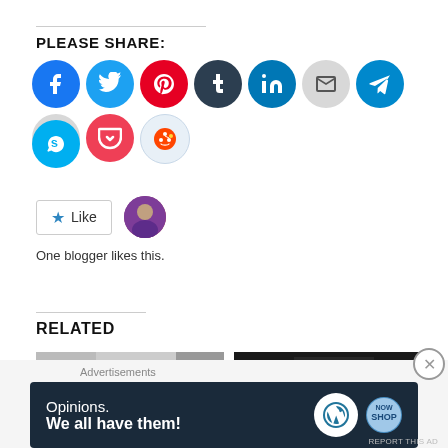PLEASE SHARE:
[Figure (infographic): Row of social media share icon buttons: Facebook (blue), Twitter (light blue), Pinterest (red), Tumblr (dark navy), LinkedIn (blue), Email (gray), Telegram (blue), Print (gray), Pocket (red), Reddit (light blue), Skype (blue)]
[Figure (infographic): Like button with star icon and blogger avatar thumbnail. Text: One blogger likes this.]
One blogger likes this.
RELATED
[Figure (photo): Two related article thumbnail images side by side]
Advertisements
[Figure (infographic): Advertisement banner: Opinions. We all have them! with WordPress and shop logos]